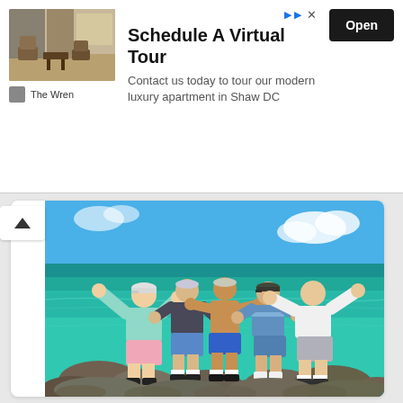[Figure (photo): Advertisement banner for The Wren luxury apartment. Shows a modern room interior photo on the left with chairs and warm wood tones. Text says 'Schedule A Virtual Tour' with subtext 'Contact us today to tour our modern luxury apartment in Shaw DC'. Has an 'Open' button on the right.]
[Figure (photo): Group photo of five men posing on rocks by a tropical beach with turquoise water and blue sky. The men are in summer/beach clothing. One man in the center is shirtless wearing blue swim shorts.]